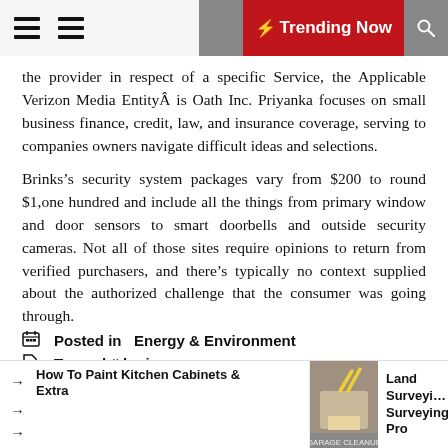Trending Now
the provider in respect of a specific Service, the Applicable Verizon Media EntityÂ is Oath Inc. Priyanka focuses on small business finance, credit, law, and insurance coverage, serving to companies owners navigate difficult ideas and selections.
Brinks's security system packages vary from $200 to round $1,one hundred and include all the things from primary window and door sensors to smart doorbells and outside security cameras. Not all of those sites require opinions to return from verified purchasers, and there's typically no context supplied about the authorized challenge that the consumer was going through.
Posted in  Energy & Environment
Tagged # login
How To Paint Kitchen Cabinets & Extra | Land Surveying Surveying Pro